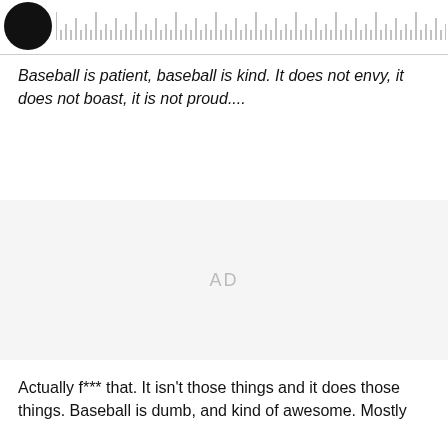[Figure (other): Circular black avatar/profile image on the left, with a ruler/measurement scale graphic extending to the right]
Baseball is patient, baseball is kind. It does not envy, it does not boast, it is not proud....
[Figure (other): AD placeholder area with light gray background]
Actually f*** that. It isn't those things and it does those things. Baseball is dumb, and kind of awesome. Mostly